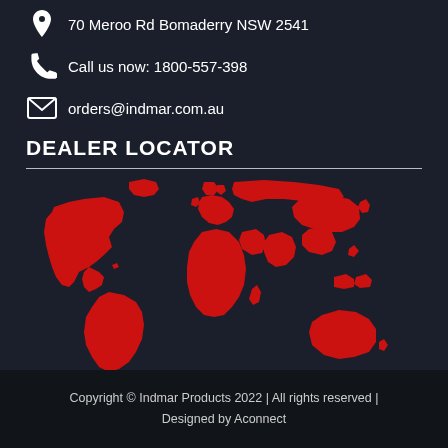70 Meroo Rd Bomaderry NSW 2541
Call us now: 1800-557-398
orders@indmar.com.au
DEALER LOCATOR
[Figure (map): Red silhouette world map on dark background, showing all continents in red]
Copyright © Indmar Products 2022 | All rights reserved | Designed by Aconnect